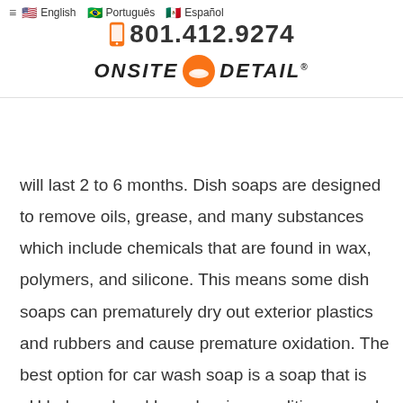≡ 🇺🇸 English 🇧🇷 Português 🇲🇽 Español  📱 801.412.9274  ONSITE DETAIL
will last 2 to 6 months. Dish soaps are designed to remove oils, grease, and many substances which include chemicals that are found in wax, polymers, and silicone. This means some dish soaps can prematurely dry out exterior plastics and rubbers and cause premature oxidation. The best option for car wash soap is a soap that is pH balanced and has glossing conditioners and specially formulated for vehicle washing. So a good car wash soap will clean